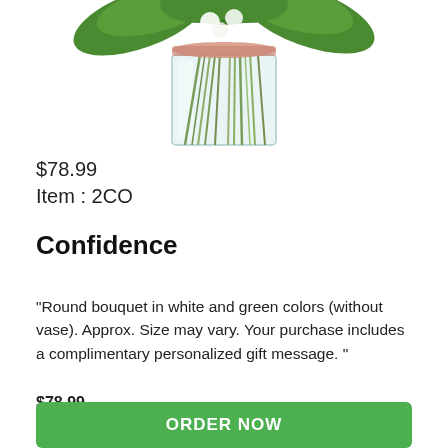[Figure (photo): A round bouquet of white and green flowers in a clear glass vase, viewed from above with stems visible through the glass, tied with a pink ribbon.]
$78.99
Item : 2CO
Confidence
"Round bouquet in white and green colors (without vase). Approx. Size may vary. Your purchase includes a complimentary personalized gift message. "
$78.99
ORDER NOW